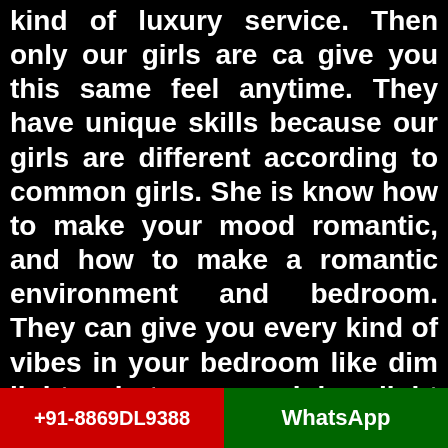kind of luxury service. Then only our girls are ca give you this same feel anytime. They have unique skills because our girls are different according to common girls. She is know how to make your mood romantic, and how to make a romantic environment and bedroom. They can give you every kind of vibes in your bedroom like dim light hotness, pink light pleasure, delightful pleasure, etc. You can feel and get this only by our astonishing Indraprastha Call Girls Service. 24x7 hours this agency is open for your welcome anytime come. So when are you hiring our girls to get delightful and lovemaking
+91-8869DL9388   WhatsApp